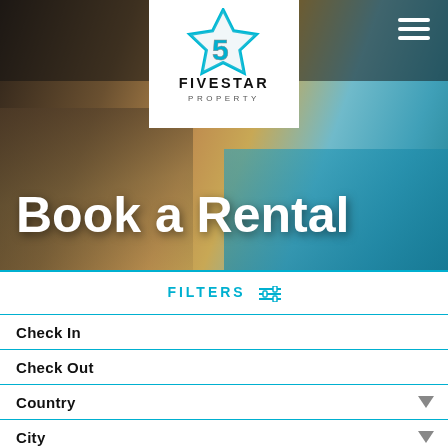[Figure (screenshot): FiveStar Property website hero image showing luxury property with pool and outdoor lounge area]
Book a Rental
FILTERS
Check In
Check Out
Country
City